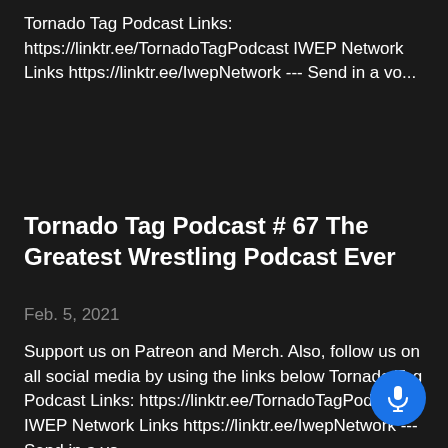Tornado Tag Podcast Links: https://linktr.ee/TornadoTagPodcast IWEP Network Links https://linktr.ee/IwepNetwork --- Send in a vo...
Tornado Tag Podcast # 67 The Greatest Wrestling Podcast Ever
Feb. 5, 2021
Support us on Patreon and Merch. Also, follow us on all social media by using the links below Tornado Tag Podcast Links: https://linktr.ee/TornadoTagPodcast IWEP Network Links https://linktr.ee/IwepNetwork --- Send in a vo...